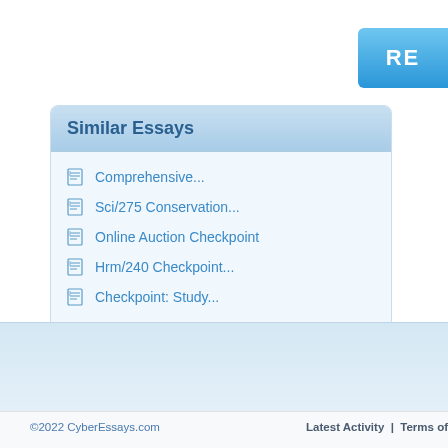[Figure (screenshot): Partial blue RE button visible in upper right corner]
Similar Essays
Comprehensive...
Sci/275 Conservation...
Online Auction Checkpoint
Hrm/240 Checkpoint...
Checkpoint: Study...
©2022 CyberEssays.com    Latest Activity | Terms of